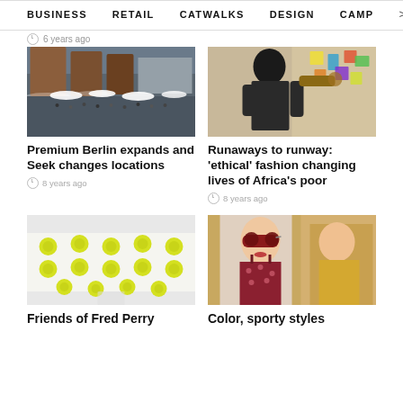BUSINESS   RETAIL   CATWALKS   DESIGN   CAMP >
6 years ago
[Figure (photo): Outdoor market or festival scene with crowd of people under white umbrellas, brick buildings in background]
Premium Berlin expands and Seek changes locations
8 years ago
[Figure (photo): Person with braided hair reaching toward colorful patterned wall or display]
Runaways to runway: 'ethical' fashion changing lives of Africa's poor
8 years ago
[Figure (photo): White garment or bag with yellow pom-pom flower embellishments arranged in a grid pattern]
Friends of Fred Perry
[Figure (photo): Fashion model wearing dark red sunglasses and floral dress on catwalk with another model in yellow dress in background]
Color, sporty styles